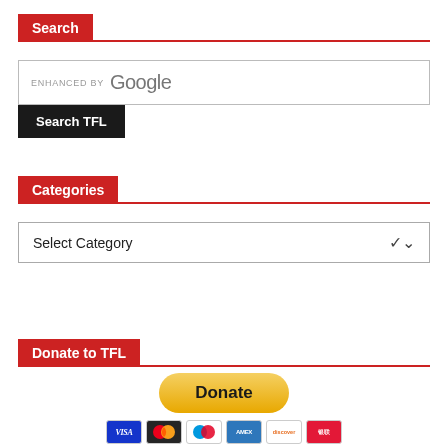Search
[Figure (screenshot): Google search box with 'ENHANCED BY Google' placeholder text and a black 'Search TFL' button below]
Categories
[Figure (screenshot): Dropdown select box labeled 'Select Category' with a chevron arrow]
Donate to TFL
[Figure (screenshot): Yellow PayPal Donate button with payment card icons (Visa, Mastercard, Maestro, Amex, Discover, Union Pay) below]